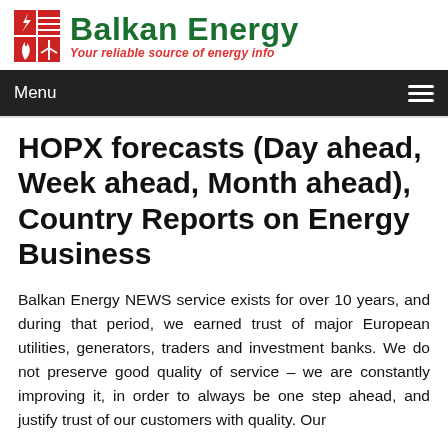[Figure (logo): Balkan Energy logo with red and green icon grid and text 'Balkan Energy' in green and tagline 'Your reliable source of energy info' in red italic]
Menu
HOPX forecasts (Day ahead, Week ahead, Month ahead), Country Reports on Energy Business
Balkan Energy NEWS service exists for over 10 years, and during that period, we earned trust of major European utilities, generators, traders and investment banks. We do not preserve good quality of service – we are constantly improving it, in order to always be one step ahead, and justify trust of our customers with quality. Our